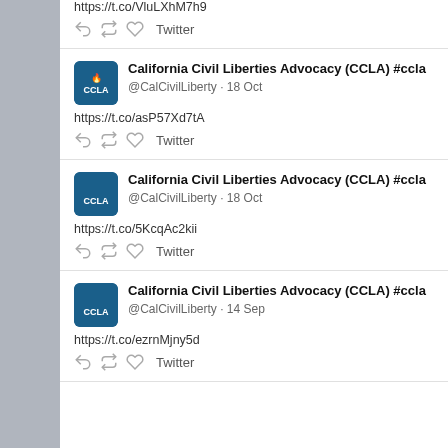https://t.co/VluLXhM7h9  [reply] [retweet] [like] Twitter
California Civil Liberties Advocacy (CCLA) #ccla @CalCivilLiberty · 18 Oct https://t.co/asP57Xd7tA [reply] [retweet] [like] Twitter
California Civil Liberties Advocacy (CCLA) #ccla @CalCivilLiberty · 18 Oct https://t.co/5KcqAc2kii [reply] [retweet] [like] Twitter
California Civil Liberties Advocacy (CCLA) #ccla @CalCivilLiberty · 14 Sep https://t.co/ezrnMjny5d [reply] [retweet] [like] Twitter